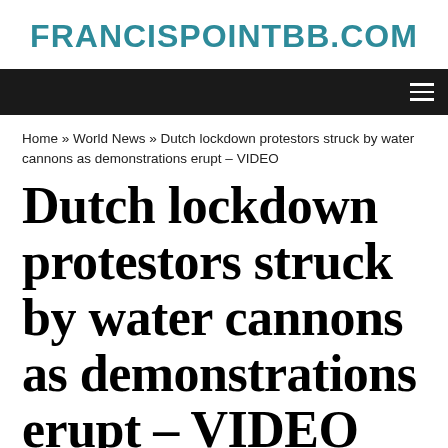FRANCISPOINTBB.COM
Home » World News » Dutch lockdown protestors struck by water cannons as demonstrations erupt – VIDEO
Dutch lockdown protestors struck by water cannons as demonstrations erupt – VIDEO